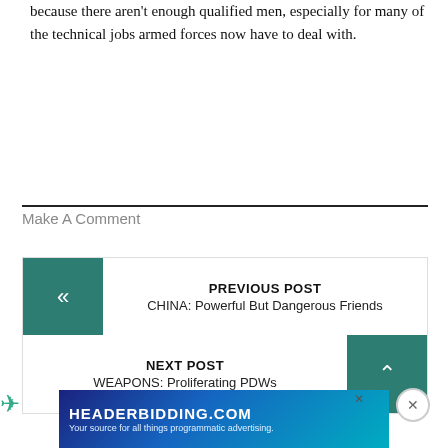because there aren't enough qualified men, especially for many of the technical jobs armed forces now have to deal with.
Make A Comment
PREVIOUS POST
CHINA: Powerful But Dangerous Friends
NEXT POST
WEAPONS: Proliferating PDWs
[Figure (screenshot): HEADERBIDDING.COM advertisement banner: Your source for all things programmatic advertising.]